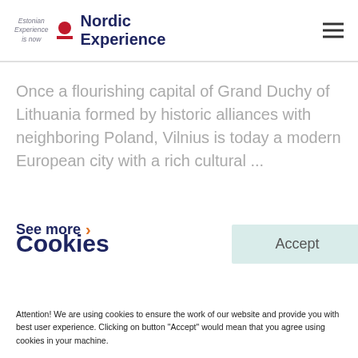Estonian Experience is now Nordic Experience
Once a flourishing capital of Grand Duchy of Lithuania formed by historic alliances with neighboring Poland, Vilnius is today a modern European city with a rich cultural ...
See more
Cookies
Accept
Attention! We are using cookies to ensure the work of our website and provide you with best user experience. Clicking on button "Accept" would mean that you agree using cookies in your machine.